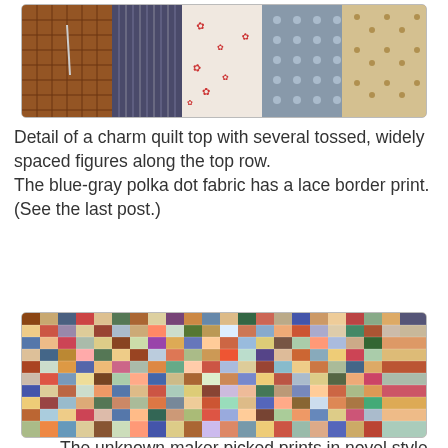[Figure (photo): Detail of a charm quilt top showing fabric squares with various prints including checks, florals, and polka dots in brown, red, and blue tones, with tossed and widely spaced figures along the top row.]
Detail of a charm quilt top with several tossed, widely spaced figures along the top row.
The blue-gray polka dot fabric has a lace border print. (See the last post.)
[Figure (photo): A charm quilt made of small fabric squares in a diagonal broken dishes or trip around the world pattern. Many different prints in earth tones, blues, reds, pinks, greens, and tan/cream are arranged in a diagonal staircase pattern.]
The unknown maker picked prints in novel styles